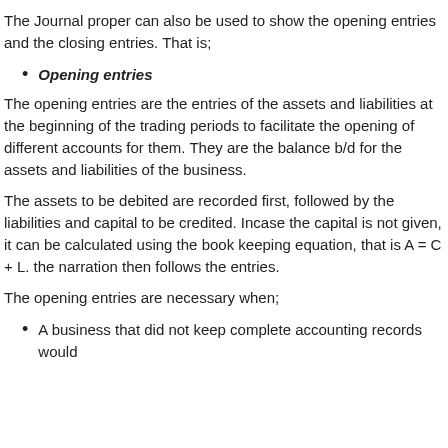The Journal proper can also be used to show the opening entries and the closing entries. That is;
Opening entries
The opening entries are the entries of the assets and liabilities at the beginning of the trading periods to facilitate the opening of different accounts for them. They are the balance b/d for the assets and liabilities of the business.
The assets to be debited are recorded first, followed by the liabilities and capital to be credited. Incase the capital is not given, it can be calculated using the book keeping equation, that is A = C + L. the narration then follows the entries.
The opening entries are necessary when;
A business that did not keep complete accounting records would